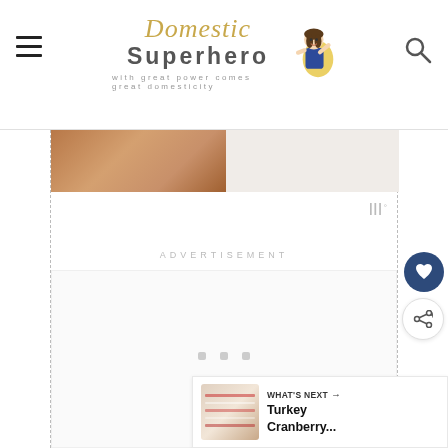Domestic Superhero — with great power comes great domesticity
[Figure (screenshot): Website screenshot showing the Domestic Superhero blog header with logo, hamburger menu, and search icon, followed by an advertisement section with dashed column borders and a 'What's Next' panel showing Turkey Cranberry article thumbnail]
ADVERTISEMENT
WHAT'S NEXT → Turkey Cranberry...